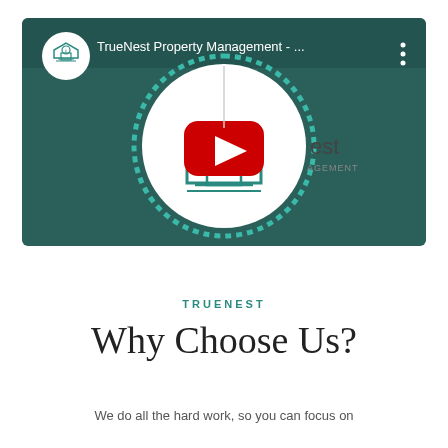[Figure (screenshot): YouTube video thumbnail for TrueNest Property Management. Dark teal background with a circular logo animation overlay showing the TrueNest logo (house with info icon) in the center with a dotted teal progress ring. A red YouTube play button is overlaid in the center. Top bar shows channel avatar, title 'TrueNest Property Management - ...' and a three-dot menu icon.]
TRUENEST
Why Choose Us?
We do all the hard work, so you can focus on